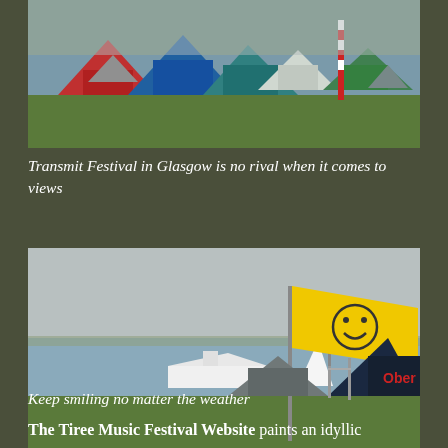[Figure (photo): Festival camping area with many colourful tents on green grass beside a body of water, overcast sky. Several tents of red, blue, teal, green and white colours visible. A red and white striped pole in the background.]
Transmit Festival in Glasgow is no rival when it comes to views
[Figure (photo): Festival campsite near the water with a bright yellow smiley-face flag flying from a pole. Two boats visible on the water in the background. A dark navy tent and grey tent visible on the right side. Green grass in foreground.]
Keep smiling no matter the weather
The Tiree Music Festival Website paints an idyllic